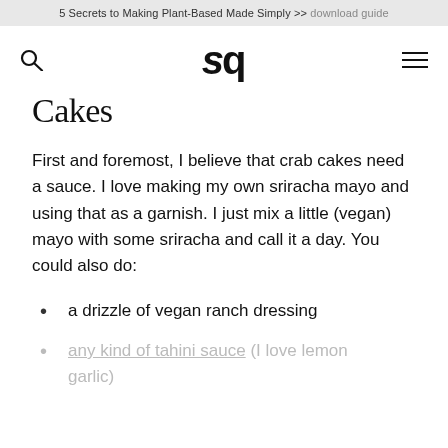5 Secrets to Making Plant-Based Made Simply >> download guide
Cakes
First and foremost, I believe that crab cakes need a sauce. I love making my own sriracha mayo and using that as a garnish. I just mix a little (vegan) mayo with some sriracha and call it a day. You could also do:
a drizzle of vegan ranch dressing
any kind of tahini sauce (I love lemon garlic)